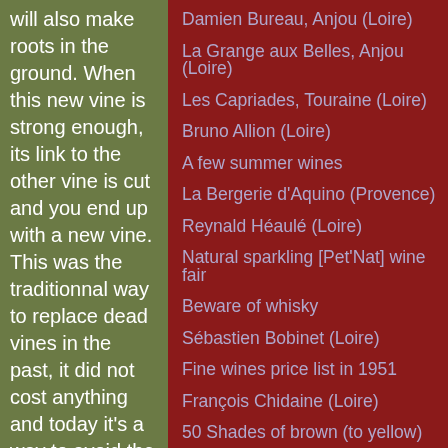will also make roots in the ground. When this new vine is strong enough, its link to the other vine is cut and you end up with a new vine. This was the traditionnal way to replace dead vines in the past, it did not cost anything and today it's a way to avoid the clones. You must know that
Damien Bureau, Anjou (Loire)
La Grange aux Belles, Anjou (Loire)
Les Capriades, Touraine (Loire)
Bruno Allion (Loire)
A few summer wines
La Bergerie d'Aquino (Provence)
Reynald Héaulé (Loire)
Natural sparkling [Pet'Nat] wine fair
Beware of whisky
Sébastien Bobinet (Loire)
Fine wines price list in 1951
François Chidaine (Loire)
50 Shades of brown (to yellow)
Yoshio Ito, wine importer